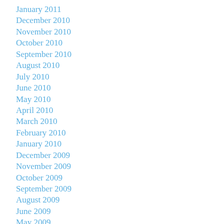January 2011
December 2010
November 2010
October 2010
September 2010
August 2010
July 2010
June 2010
May 2010
April 2010
March 2010
February 2010
January 2010
December 2009
November 2009
October 2009
September 2009
August 2009
June 2009
May 2009
April 2009